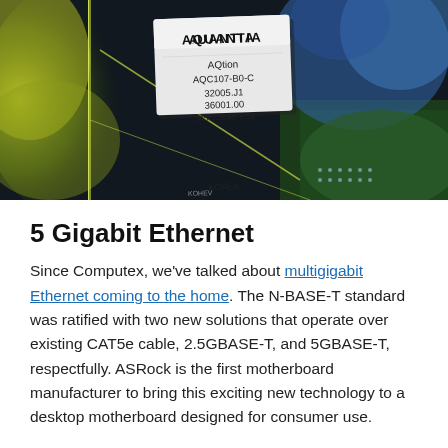[Figure (photo): Close-up photo of an Aquantia AQtion AQC107-B0-C chip on a circuit board. The chip label reads: AQUANTIA, AQtion, AQC107-B0-C, 32005.J1, 36001.00, 345C-1645-ES4, KOREA. Background shows colorful bokeh and green PCB components.]
5 Gigabit Ethernet
Since Computex, we've talked about multigigabit Ethernet coming to the home. The N-BASE-T standard was ratified with two new solutions that operate over existing CAT5e cable, 2.5GBASE-T, and 5GBASE-T, respectfully. ASRock is the first motherboard manufacturer to bring this exciting new technology to a desktop motherboard designed for consumer use.